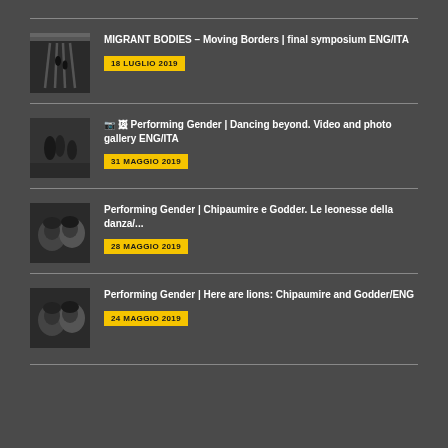MIGRANT BODIES – Moving Borders | final symposium ENG/ITA | 18 LUGLIO 2019
Performing Gender | Dancing beyond. Video and photo gallery ENG/ITA | 31 MAGGIO 2019
Performing Gender | Chipaumire e Godder. Le leonesse della danza/... | 28 MAGGIO 2019
Performing Gender | Here are lions: Chipaumire and Godder/ENG | 24 MAGGIO 2019